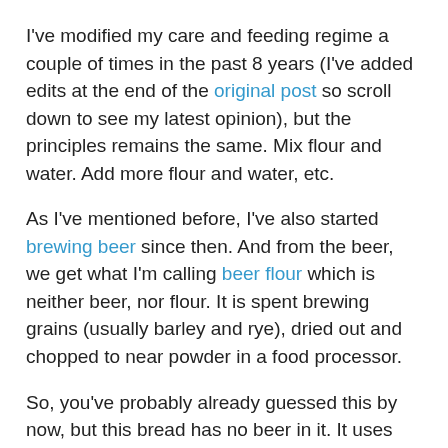I've modified my care and feeding regime a couple of times in the past 8 years (I've added edits at the end of the original post so scroll down to see my latest opinion), but the principles remains the same. Mix flour and water. Add more flour and water, etc.
As I've mentioned before, I've also started brewing beer since then. And from the beer, we get what I'm calling beer flour which is neither beer, nor flour. It is spent brewing grains (usually barley and rye), dried out and chopped to near powder in a food processor.
So, you've probably already guessed this by now, but this bread has no beer in it. It uses the beer flour to replace some of the regular bread flour to make a healthier and tastier bread!